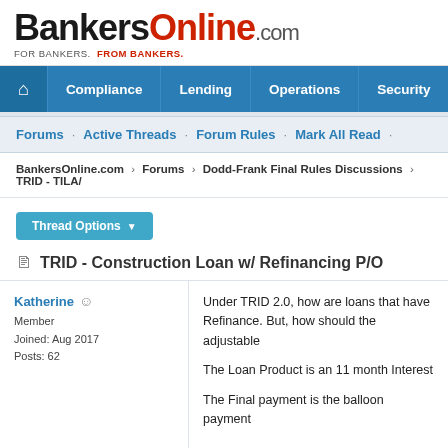[Figure (logo): BankersOnline.com logo with tagline FOR BANKERS. FROM BANKERS.]
Compliance · Lending · Operations · Security
Forums · Active Threads · Forum Rules · Mark All Read
BankersOnline.com > Forums > Dodd-Frank Final Rules Discussions > TRID - TILA/
Thread Options
TRID - Construction Loan w/ Refinancing P/O
Katherine
Member
Joined: Aug 2017
Posts: 62
Under TRID 2.0, how are loans that have Refinance. But, how should the adjustable The Loan Product is an 11 month Interest The Final payment is the balloon payment